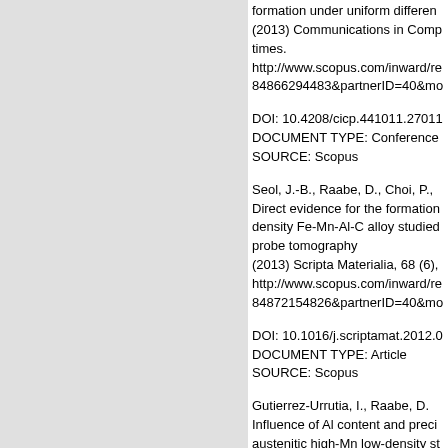formation under uniform different... (2013) Communications in Comp... times. http://www.scopus.com/inward/re... 84866294483&partnerID=40&mo...
DOI: 10.4208/cicp.441011.27011... DOCUMENT TYPE: Conference... SOURCE: Scopus
Seol, J.-B., Raabe, D., Choi, P., ... Direct evidence for the formation... density Fe-Mn-Al-C alloy studied... probe tomography (2013) Scripta Materialia, 68 (6),... http://www.scopus.com/inward/re... 84872154826&partnerID=40&mo...
DOI: 10.1016/j.scriptamat.2012.0... DOCUMENT TYPE: Article SOURCE: Scopus
Gutierrez-Urrutia, I., Raabe, D. Influence of Al content and preci... austenitic high-Mn low-density st... (2013) Scripta Materialia, 68 (6),... http://www.scopus.com/inward/re... 84872136506&partnerID=40&mo...
DOI: 10.1016/j.scriptamat.2012.0... DOCUMENT TYPE: Article SOURCE: Scopus